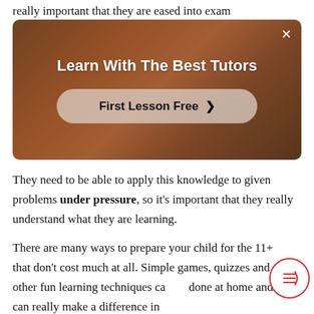really important that they are eased into exam
[Figure (screenshot): Advertisement banner with dark warm background showing a person in red. Text reads 'Learn With The Best Tutors' with a button 'First Lesson Free >']
They need to be able to apply this knowledge to given problems under pressure, so it's important that they really understand what they are learning.
There are many ways to prepare your child for the 11+ that don't cost much at all. Simple games, quizzes and other fun learning techniques can be done at home and can really make a difference in